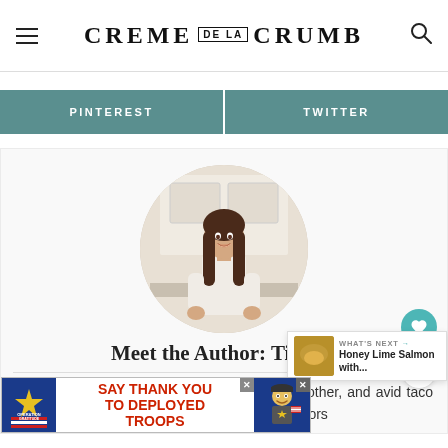CREME DE LA CRUMB
PINTEREST
TWITTER
[Figure (photo): Circular profile photo of Tiffany, a woman with long brown hair wearing a white top, standing in a kitchen setting.]
Meet the Author: Tiffany
Hey there, I'm Tiffany - cook, photographer, mother, and avid taco eater. I am passionate about turning simple flavors
[Figure (infographic): What's Next widget showing 'Honey Lime Salmon with...' with a food thumbnail]
[Figure (infographic): Operation Gratitude advertisement: SAY THANK YOU TO DEPLOYED TROOPS]